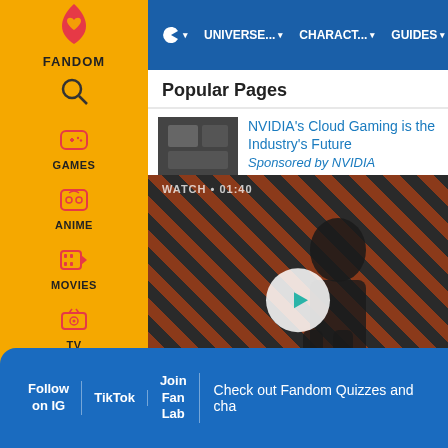FANDOM sidebar with GAMES, ANIME, MOVIES, TV, VIDEO navigation
UNIVERSE... | CHARACT... | GUIDES | ITEMS navigation bar
Popular Pages
NVIDIA's Cloud Gaming is the Industry's Future
Sponsored by NVIDIA
[Figure (screenshot): Video thumbnail showing The Sandman Will Keep You Awake - The Loop, WATCH • 01:40]
WATCH • 01:40
The Sandman Will Keep You Awake - The Loop
Follow on IG | TikTok | Join Fan Lab | Check out Fandom Quizzes and cha